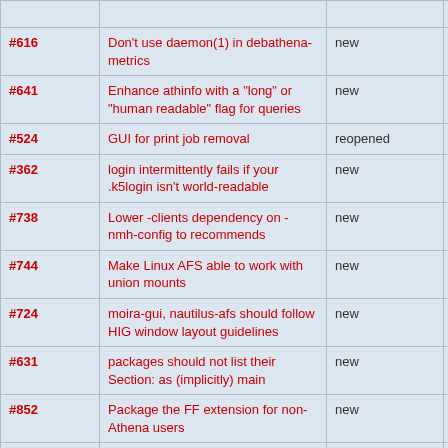| Ticket | Summary | Status | Type |
| --- | --- | --- | --- |
| #616 | Don't use daemon(1) in debathena-metrics | new | defect |
| #641 | Enhance athinfo with a "long" or "human readable" flag for queries | new | enhance |
| #524 | GUI for print job removal | reopened | enhance |
| #362 | login intermittently fails if your .k5login isn't world-readable | new | defect |
| #738 | Lower -clients dependency on -nmh-config to recommends | new | defect |
| #744 | Make Linux AFS able to work with union mounts | new | enhance |
| #724 | moira-gui, nautilus-afs should follow HIG window layout guidelines | new | defect |
| #631 | packages should not list their Section: as (implicitly) main | new | defect |
| #852 | Package the FF extension for non-Athena users | new | defect |
| #221 | Replace the default zephyr | new | enhance |